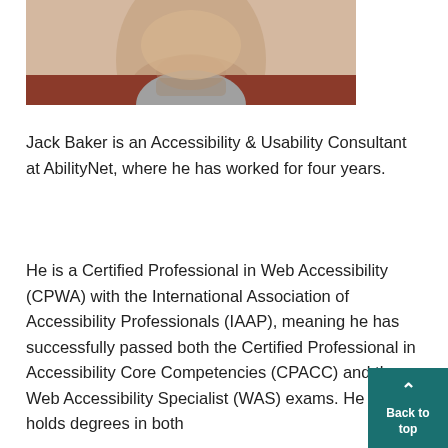[Figure (photo): Cropped photo of a man (Jack Baker) wearing a rust/burnt-orange and grey t-shirt, showing his neck and lower face with short beard stubble. The top of his head is cut off.]
Jack Baker is an Accessibility & Usability Consultant at AbilityNet, where he has worked for four years.
He is a Certified Professional in Web Accessibility (CPWA) with the International Association of Accessibility Professionals (IAAP), meaning he has successfully passed both the Certified Professional in Accessibility Core Competencies (CPACC) and the Web Accessibility Specialist (WAS) exams. He also holds degrees in both